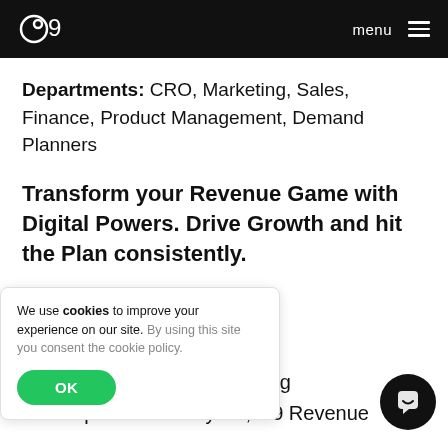o9 | menu
Departments: CRO, Marketing, Sales, Finance, Product Management, Demand Planners
Transform your Revenue Game with Digital Powers. Drive Growth and hit the Plan consistently.
...ities to ...l. ...nowledge and AI powered Analytics, O9 Revenue
We use cookies to improve your experience on our site. By using this site you consent the cookie policy. OK